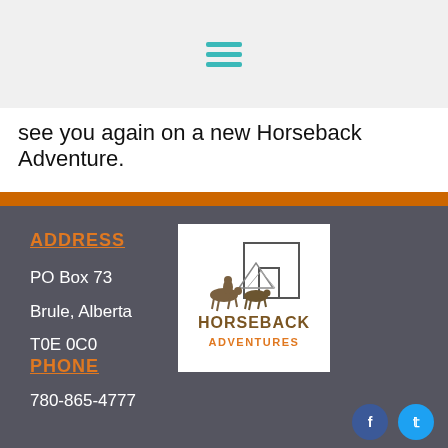[Figure (other): Hamburger menu icon with three teal horizontal lines]
see you again on a new Horseback Adventure.
ADDRESS
PO Box 73
Brule, Alberta
T0E 0C0
[Figure (logo): Horseback Adventures logo: silhouette of horses and rider with mountains and barn outline; text reads HORSEBACK ADVENTURES]
PHONE
780-865-4777